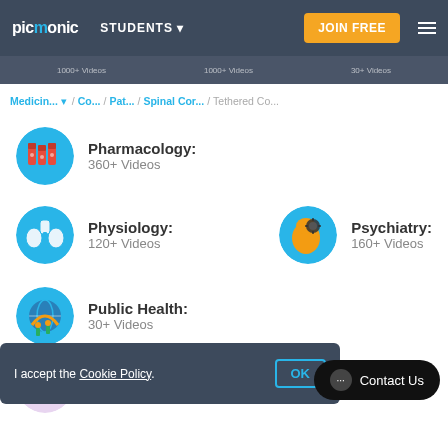picmonic | STUDENTS ▼ | JOIN FREE
1000+ Videos | 1000+ Videos | 30+ Videos
Medicin... ▼ / Co... / Pat... / Spinal Cor... / Tethered Co...
Pharmacology: 360+ Videos
Physiology: 120+ Videos
Psychiatry: 160+ Videos
Public Health: 30+ Videos
Pulmonology:
I accept the Cookie Policy. OK
Contact Us